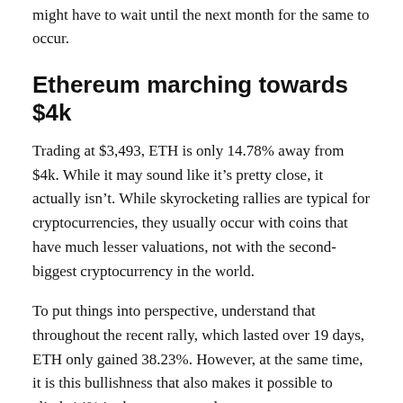might have to wait until the next month for the same to occur.
Ethereum marching towards $4k
Trading at $3,493, ETH is only 14.78% away from $4k. While it may sound like it's pretty close, it actually isn't. While skyrocketing rallies are typical for cryptocurrencies, they usually occur with coins that have much lesser valuations, not with the second-biggest cryptocurrency in the world.
To put things into perspective, understand that throughout the recent rally, which lasted over 19 days, ETH only gained 38.23%. However, at the same time, it is this bullishness that also makes it possible to climb 14% in the next seven days.